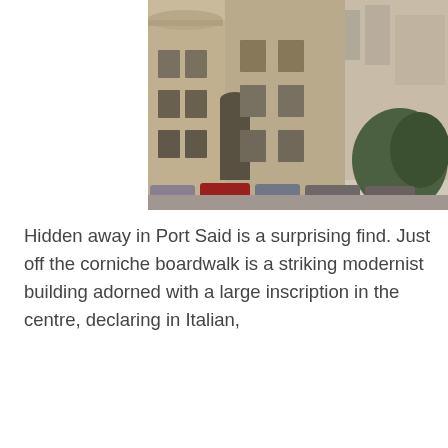[Figure (photo): Photograph of a tan/beige multi-story building in Port Said with cars parked in front, featuring ornate architectural details, taken from street level]
Hidden away in Port Said is a surprising find. Just off the corniche boardwalk is a striking modernist building adorned with a large inscription in the centre, declaring in Italian,
IN THIS HOUSE OF ITALY
BUILT ON THE FAITH
AND LOVE OF THE HOMELAND
THE MILLENARY ESSENCE OF THE COUNTRY
THE CULT OF DANTE
LIVES ON WITH THE WORK OF ITALIAN